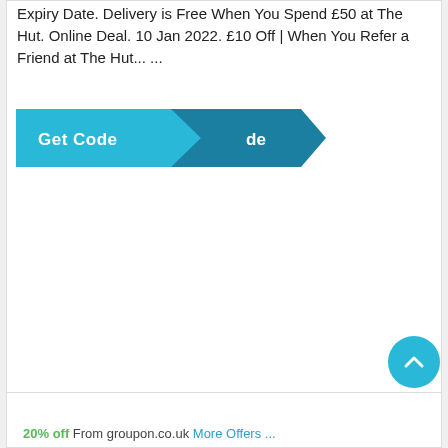Expiry Date. Delivery is Free When You Spend £50 at The Hut. Online Deal. 10 Jan 2022. £10 Off | When You Refer a Friend at The Hut... ...
[Figure (other): A teal 'Get Code' button with a arrow/chevron shape pointing right, overlaid with a darker teal chevron showing 'de']
[Figure (other): A circular teal scroll-to-top button with an upward-pointing chevron arrow]
20% off From groupon.co.uk More Offers ...